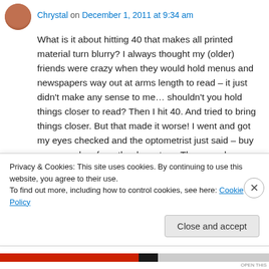Chrystal on December 1, 2011 at 9:34 am
What is it about hitting 40 that makes all printed material turn blurry? I always thought my (older) friends were crazy when they would hold menus and newspapers way out at arms length to read – it just didn't make any sense to me… shouldn't you hold things closer to read? Then I hit 40. And tried to bring things closer. But that made it worse! I went and got my eyes checked and the optometrist just said – buy some readers from the drug store. They are cheaper than Rx
Privacy & Cookies: This site uses cookies. By continuing to use this website, you agree to their use.
To find out more, including how to control cookies, see here: Cookie Policy